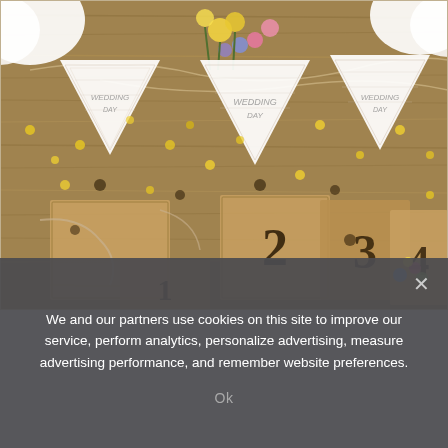[Figure (photo): A wedding-themed flat lay photograph on a rustic wooden table. White lace triangular bunting flags with 'Wedding Day' text hang across the scene. Brown kraft paper gift boxes are numbered 2, 3, 4, 1. Gold/yellow confetti dots are scattered across the wooden surface. White paper flower decorations visible in corners. Colorful wildflowers in a vase in the background.]
We and our partners use cookies on this site to improve our service, perform analytics, personalize advertising, measure advertising performance, and remember website preferences.
Ok